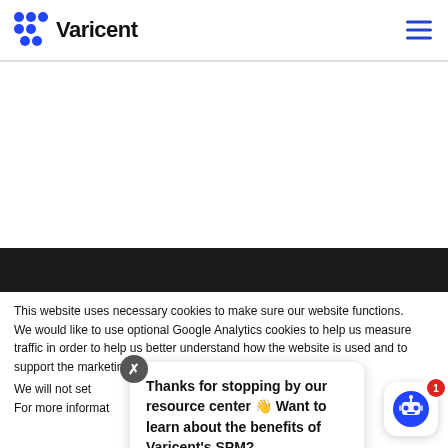Varicent
This website uses necessary cookies to make sure our website functions.
We would like to use optional Google Analytics cookies to help us measure traffic in order to help us better understand how the website is used and to support the marketing of our services.
We will not set optional cookies without your consent and we do not sell them.
For more information about the cookies we use, please see our Privacy Policy.
Thanks for stopping by our resource center 👋 Want to learn about the benefits of Varicent's SPM?